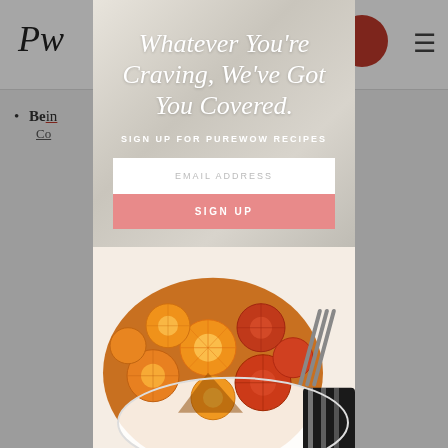[Figure (screenshot): Website page showing PureWow with navigation bar, bullet point list item, and article title about cold brew, with a popup modal overlay containing a recipe email signup form and an upside-down orange/blood orange cake photo]
Whatever You're Craving, We've Got You Covered.
SIGN UP FOR PUREWOW RECIPES
EMAIL ADDRESS
SIGN UP